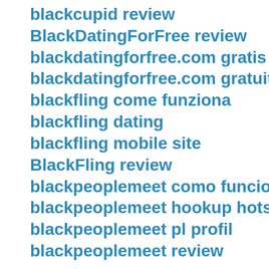blackcupid review
BlackDatingForFree review
blackdatingforfree.com gratis
blackdatingforfree.com gratuit
blackfling come funziona
blackfling dating
blackfling mobile site
BlackFling review
blackpeoplemeet como funciona
blackpeoplemeet hookup hotshot
blackpeoplemeet pl profil
blackpeoplemeet review